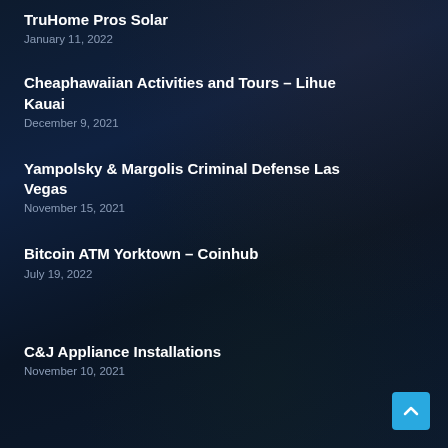TruHome Pros Solar
January 11, 2022
Cheaphawaiian Activities and Tours – Lihue Kauai
December 9, 2021
Yampolsky & Margolis Criminal Defense Las Vegas
November 15, 2021
Bitcoin ATM Yorktown – Coinhub
July 19, 2022
C&J Appliance Installations
November 10, 2021